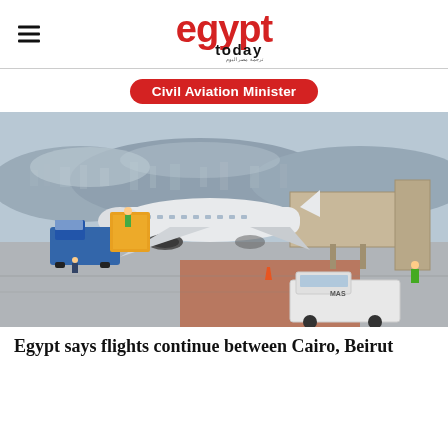egypt today
Civil Aviation Minister
[Figure (photo): An airplane parked at an airport gate connected to a jet bridge, with ground service equipment including a blue catering truck, airport vehicles nearby, and a cityscape with mountains visible in the background under a hazy sky.]
Egypt says flights continue between Cairo, Beirut